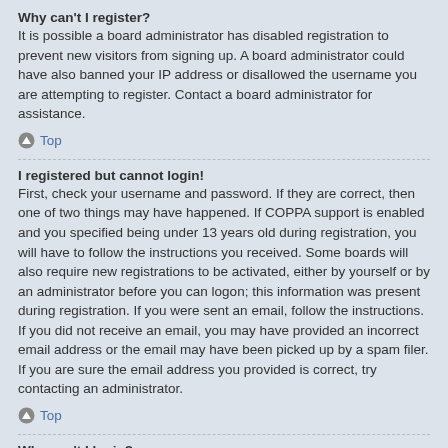Why can't I register?
It is possible a board administrator has disabled registration to prevent new visitors from signing up. A board administrator could have also banned your IP address or disallowed the username you are attempting to register. Contact a board administrator for assistance.
Top
I registered but cannot login!
First, check your username and password. If they are correct, then one of two things may have happened. If COPPA support is enabled and you specified being under 13 years old during registration, you will have to follow the instructions you received. Some boards will also require new registrations to be activated, either by yourself or by an administrator before you can logon; this information was present during registration. If you were sent an email, follow the instructions. If you did not receive an email, you may have provided an incorrect email address or the email may have been picked up by a spam filer. If you are sure the email address you provided is correct, try contacting an administrator.
Top
Why can't I login?
There are several reasons why this could occur. First, ensure your username and password are correct. If they are, contact a board administrator to make sure you haven't been banned. It is also possible the website owner has a configuration error on their end, and they would need to fix it.